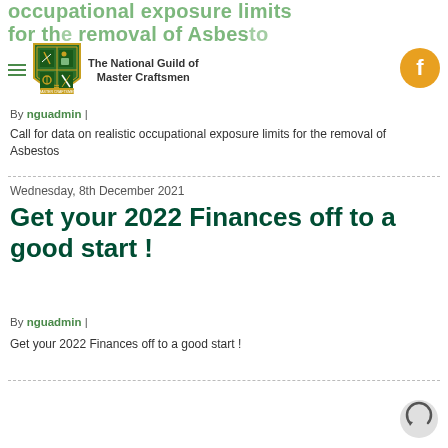occupational exposure limits for the removal of Asbestos
[Figure (logo): National Guild of Master Craftsmen shield logo with green and gold colours]
[Figure (logo): Facebook circular icon in orange/gold]
By nguadmin |
Call for data on realistic occupational exposure limits for the removal of Asbestos
Wednesday, 8th December 2021
Get your 2022 Finances off to a good start !
By nguadmin |
Get your 2022 Finances off to a good start !
[Figure (other): Back to top circular arrow button]